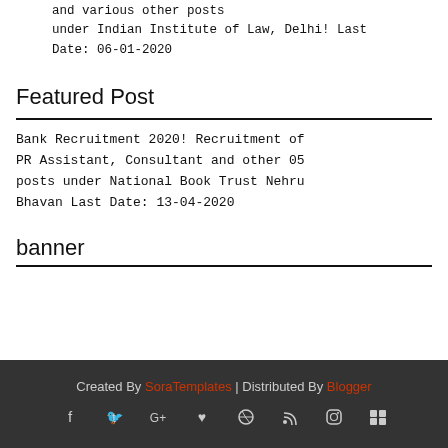and various other posts under Indian Institute of Law, Delhi! Last Date: 06-01-2020
Featured Post
Bank Recruitment 2020! Recruitment of PR Assistant, Consultant and other 05 posts under National Book Trust Nehru Bhavan Last Date: 13-04-2020
banner
Created By SoraTemplates | Distributed By Blogger